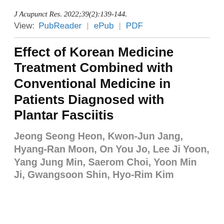J Acupunct Res. 2022;39(2):139-144.
View:  PubReader  |  ePub  |  PDF
Effect of Korean Medicine Treatment Combined with Conventional Medicine in Patients Diagnosed with Plantar Fasciitis
Jeong Seong Heon, Kwon-Jun Jang, Hyang-Ran Moon, On You Jo, Lee Ji Yoon, Yang Jung Min, Saerom Choi, Yoon Min Ji, Gwangsoon Shin, Hyo-Rim Kim